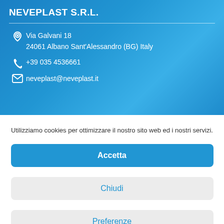NEVEPLAST S.R.L.
Via Galvani 18
24061 Albano Sant'Alessandro (BG) Italy
+39 035 4536661
neveplast@neveplast.it
Utilizziamo cookies per ottimizzare il nostro sito web ed i nostri servizi.
Accetta
Chiudi
Preferenze